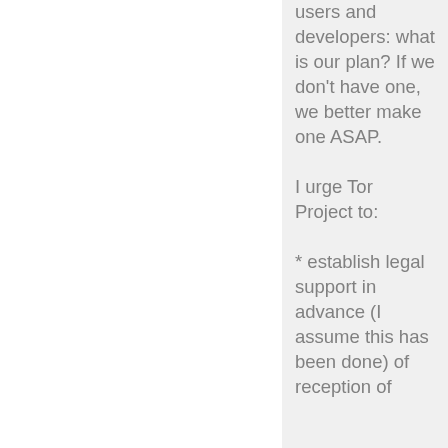users and developers: what is our plan? If we don't have one, we better make one ASAP.

I urge Tor Project to:

* establish legal support in advance (I assume this has been done) of reception of